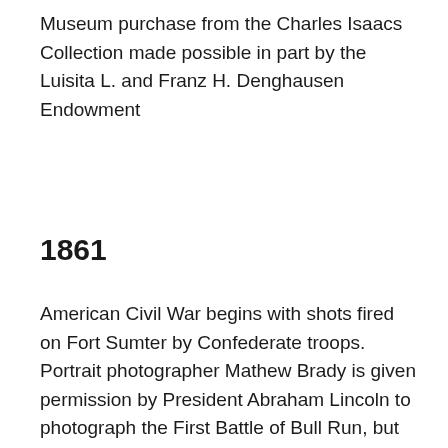Museum purchase from the Charles Isaacs Collection made possible in part by the Luisita L. and Franz H. Denghausen Endowment
1861
American Civil War begins with shots fired on Fort Sumter by Confederate troops. Portrait photographer Mathew Brady is given permission by President Abraham Lincoln to photograph the First Battle of Bull Run, but comes so close to the battle that he narrowly avoids capture. Using paid assistants Alexander Gardner, Timothy O'Sullivan, George N. Barnard, and others, Brady's studio makes